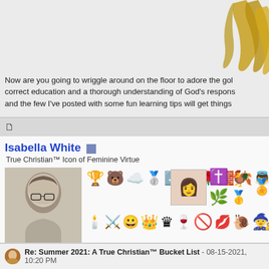[Figure (photo): Partial image of golden decorative feet/claws artifact on gray background, top-right corner]
Now are you going to wriggle around on the floor to adore the gold... correct education and a thorough understanding of God's respons... and the few I've posted with some fun learning tips will get things...
Isabella White  True Christian™ Icon of Feminine Virtue
[Figure (photo): Black and white avatar photo of an elderly woman with glasses]
[Figure (infographic): Two rows of forum badge/award icons including various emoji-style images: trophies, animals, crosses, crowns, symbols]
Re: Summer 2021: A True Christian™ Bucket List - 08-15-2021, 10:20 PM